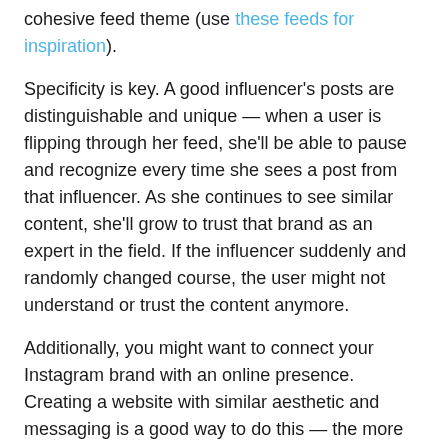cohesive feed theme (use these feeds for inspiration).
Specificity is key. A good influencer's posts are distinguishable and unique — when a user is flipping through her feed, she'll be able to pause and recognize every time she sees a post from that influencer. As she continues to see similar content, she'll grow to trust that brand as an expert in the field. If the influencer suddenly and randomly changed course, the user might not understand or trust the content anymore.
Additionally, you might want to connect your Instagram brand with an online presence. Creating a website with similar aesthetic and messaging is a good way to do this — the more you unify your social media accounts, the easier it will be for brands to distinguish how you can help them.